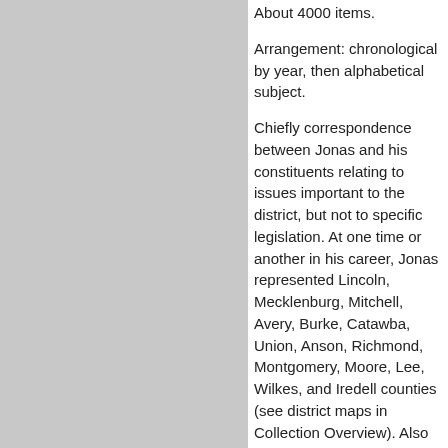About 4000 items.
Arrangement: chronological by year, then alphabetical subject.
Chiefly correspondence between Jonas and his constituents relating to issues important to the district, but not to specific legislation. At one time or another in his career, Jonas represented Lincoln, Mecklenburg, Mitchell, Avery, Burke, Catawba, Union, Anson, Richmond, Montgomery, Moore, Lee, Wilkes, and Iredell counties (see district maps in Collection Overview). Also included are some letters from people outside the district.
The arrangement of the